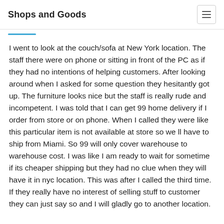Shops and Goods
I went to look at the couch/sofa at New York location. The staff there were on phone or sitting in front of the PC as if they had no intentions of helping customers. After looking around when I asked for some question they hesitantly got up. The furniture looks nice but the staff is really rude and incompetent. I was told that I can get 99 home delivery if I order from store or on phone. When I called they were like this particular item is not available at store so we ll have to ship from Miami. So 99 will only cover warehouse to warehouse cost. I was like I am ready to wait for sometime if its cheaper shipping but they had no clue when they will have it in nyc location. This was after I called the third time. If they really have no interest of selling stuff to customer they can just say so and I will gladly go to another location.